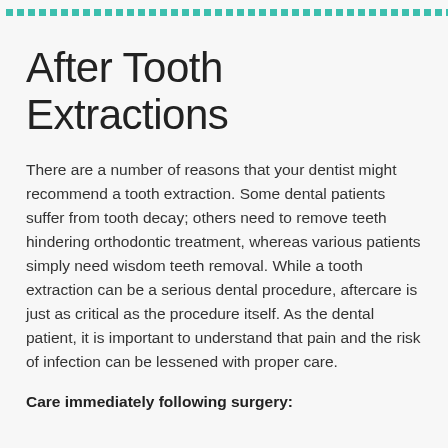After Tooth Extractions
There are a number of reasons that your dentist might recommend a tooth extraction. Some dental patients suffer from tooth decay; others need to remove teeth hindering orthodontic treatment, whereas various patients simply need wisdom teeth removal. While a tooth extraction can be a serious dental procedure, aftercare is just as critical as the procedure itself. As the dental patient, it is important to understand that pain and the risk of infection can be lessened with proper care.
Care immediately following surgery: